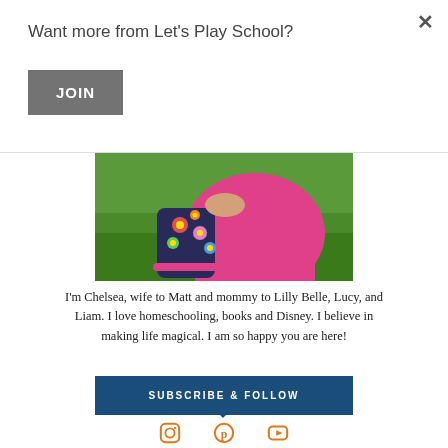×
Want more from Let's Play School?
JOIN
[Figure (photo): Close-up photo of a child in a pink dress holding a colorful floral rain boot, with green grass in the background]
I'm Chelsea, wife to Matt and mommy to Lilly Belle, Lucy, and Liam. I love homeschooling, books and Disney. I believe in making life magical. I am so happy you are here!
SUBSCRIBE & FOLLOW
[Figure (infographic): Social media icons: Instagram camera, Pinterest P, YouTube play button — all in orange]